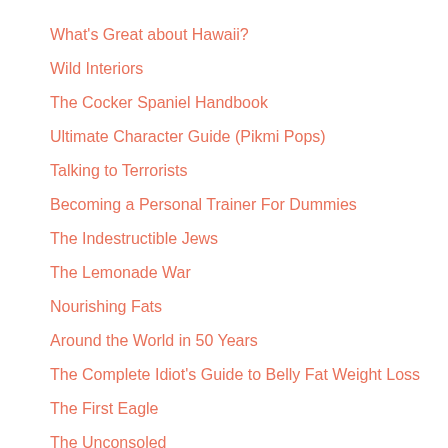What's Great about Hawaii?
Wild Interiors
The Cocker Spaniel Handbook
Ultimate Character Guide (Pikmi Pops)
Talking to Terrorists
Becoming a Personal Trainer For Dummies
The Indestructible Jews
The Lemonade War
Nourishing Fats
Around the World in 50 Years
The Complete Idiot's Guide to Belly Fat Weight Loss
The First Eagle
The Unconsoled